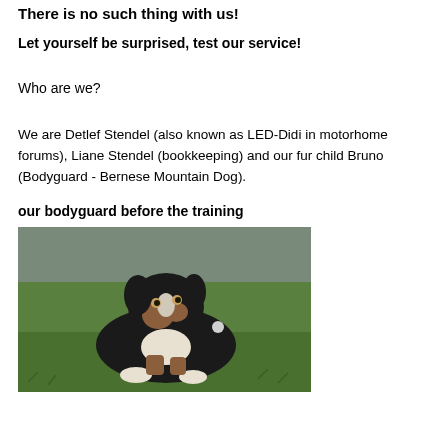There is no such thing with us!
Let yourself be surprised, test our service!
Who are we?
We are Detlef Stendel (also known as LED-Didi in motorhome forums), Liane Stendel (bookkeeping) and our fur child Bruno (Bodyguard - Bernese Mountain Dog).
our bodyguard before the training
[Figure (photo): A Bernese Mountain Dog lying on green grass, black brown and white coloring, looking at the camera.]